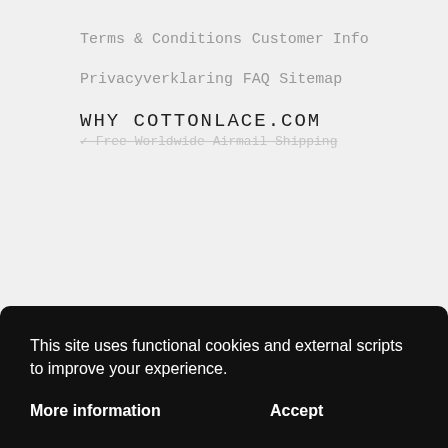Terms & Conditions
Customer Info
Privacyverklaring
FAQ
Sitemap
WHY COTTONLACE.COM
✓ Free Worldwide Airmail Shipping
This site uses functional cookies and external scripts to improve your experience.
More information
Accept